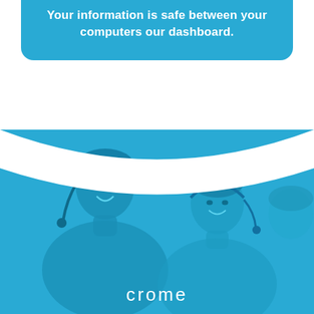Your information is safe between your computers our dashboard.
[Figure (photo): Blue-tinted photo of two people wearing headsets at a call center, with a blue color overlay. Below the photo is the word 'crome' in white text.]
crome